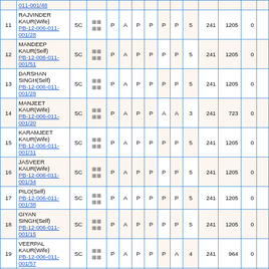| Sr | Name/Relation/EPIC | Category | Photo | C1 | C2 | C3 | C4 | C5 | C6 | Count | Rate | Amount | Net |
| --- | --- | --- | --- | --- | --- | --- | --- | --- | --- | --- | --- | --- | --- |
|  | 011-001/48 |  |  |  |  |  |  |  |  |  |  |  |  |
| 11 | RAJVINDER KAUR(Wife)
PB-12-006-011-001/28 | SC | photo | P | A | P | P | P | P | 5 | 241 | 1205 | 0 |
| 12 | MANDEEP KAUR(Self)
PB-12-006-011-001/51 | SC | photo | P | A | P | P | P | P | 5 | 241 | 1205 | 0 |
| 13 | DARSHAN SINGH(Self)
PB-12-006-011-001/28 | SC | photo | P | A | P | P | P | P | 5 | 241 | 1205 | 0 |
| 14 | MANJEET KAUR(Wife)
PB-12-006-011-001/20 | SC | photo | P | A | P | P | A | A | 3 | 241 | 723 | 0 |
| 15 | KARAMJEET KAUR(Wife)
PB-12-006-011-001/31 | SC | photo | P | A | P | P | P | P | 5 | 241 | 1205 | 0 |
| 16 | JASVEER KAUR(Wife)
PB-12-006-011-001/34 | SC | photo | P | A | P | P | P | P | 5 | 241 | 1205 | 0 |
| 17 | PILO(Self)
PB-12-006-011-001/38 | SC | photo | P | A | P | P | P | P | 5 | 241 | 1205 | 0 |
| 18 | GIYAN SINGH(Self)
PB-12-006-011-001/15 | SC | photo | P | A | P | P | P | P | 5 | 241 | 1205 | 0 |
| 19 | VEERPAL KAUR(Wife)
PB-12-006-011-001/57 | SC | photo | P | A | P | P | P | A | 4 | 241 | 964 | 0 |
|  | MANDEEP... |  |  |  |  |  |  |  |  |  |  |  |  |